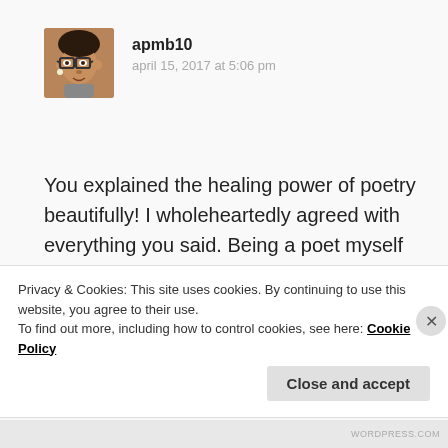[Figure (photo): Avatar photo of user apmb10, showing a woman with glasses and short hair]
apmb10
april 15, 2017 at 5:06 pm
You explained the healing power of poetry beautifully! I wholeheartedly agreed with everything you said. Being a poet myself I've experienced the soothing qualities that poetry
Privacy & Cookies: This site uses cookies. By continuing to use this website, you agree to their use.
To find out more, including how to control cookies, see here: Cookie Policy
Close and accept